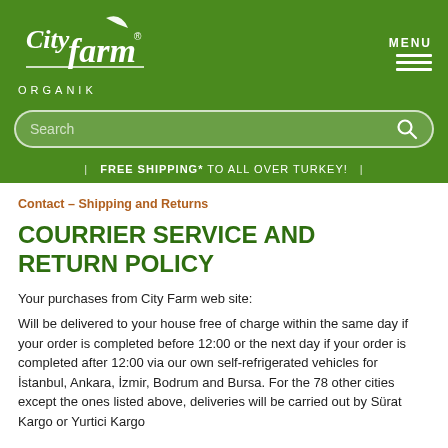[Figure (logo): City Farm Organik logo — white script text with a leaf, on green background]
MENU
Search
| FREE SHIPPING* TO ALL OVER TURKEY! |
Contact  –  Shipping and Returns
COURRIER SERVICE AND RETURN POLICY
Your purchases from City Farm web site:
Will be delivered to your house free of charge within the same day if your order is completed before 12:00 or the next day if your order is completed after 12:00 via our own self-refrigerated vehicles for İstanbul, Ankara, İzmir, Bodrum and Bursa. For the 78 other cities except the ones listed above, deliveries will be carried out by Sürat Kargo or Yurtici Kargo